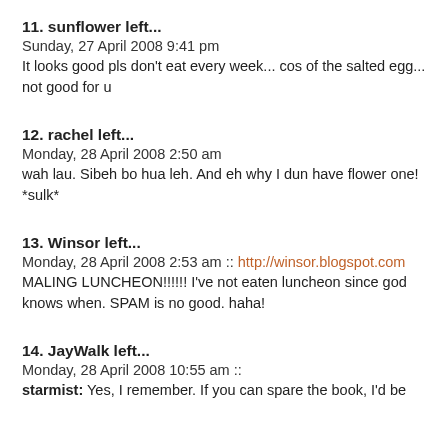11. sunflower left...
Sunday, 27 April 2008 9:41 pm
It looks good pls don't eat every week... cos of the salted egg... not good for u
12. rachel left...
Monday, 28 April 2008 2:50 am
wah lau. Sibeh bo hua leh. And eh why I dun have flower one! *sulk*
13. Winsor left...
Monday, 28 April 2008 2:53 am :: http://winsor.blogspot.com
MALING LUNCHEON!!!!!! I've not eaten luncheon since god knows when. SPAM is no good. haha!
14. JayWalk left...
Monday, 28 April 2008 10:55 am ::
starmist: Yes, I remember. If you can spare the book, I'd be